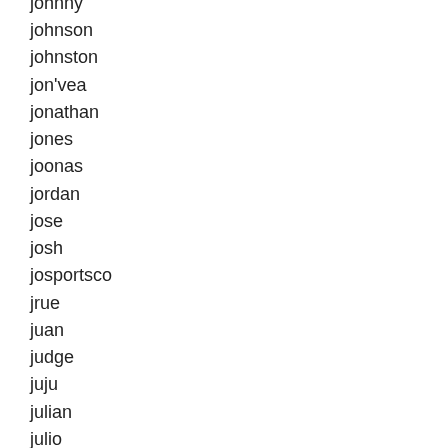johnny
johnson
johnston
jon'vea
jonathan
jones
joonas
jordan
jose
josh
josportsco
jrue
juan
judge
juju
julian
julio
julius
junior
just